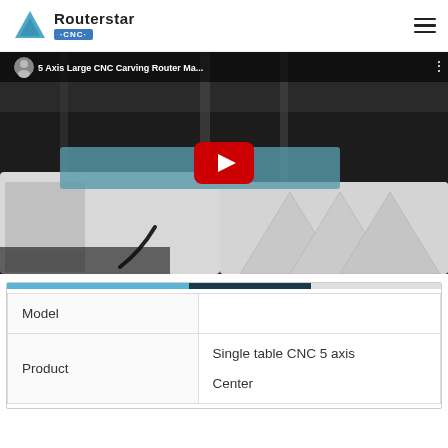Routerstar CNC
[Figure (screenshot): YouTube video thumbnail showing a 5 Axis Large CNC Carving Router Machine in a factory setting, with a red play button overlay and video title bar at top.]
|  |  |
| --- | --- |
| Model |  |
| Product | Single table CNC 5 axis Center |